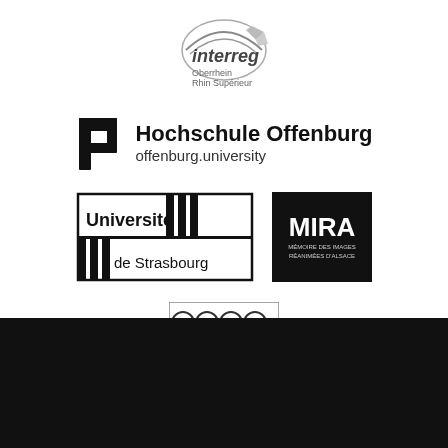[Figure (logo): Interreg Oberrhein Rhin Supérieur logo — curved italic text with pencil/arrow graphic]
[Figure (logo): Hochschule Offenburg logo with stylized 'p' icon and text: Hochschule Offenburg / offenburg.university]
[Figure (logo): Université de Strasbourg logo with bordered rectangle design]
[Figure (logo): MIRA - Mémoire des Images Réanimées d'Alsace logo, white text on black background]
[Figure (logo): Creative Commons BY NC ND license badge]
English
Log in
Mentions légales